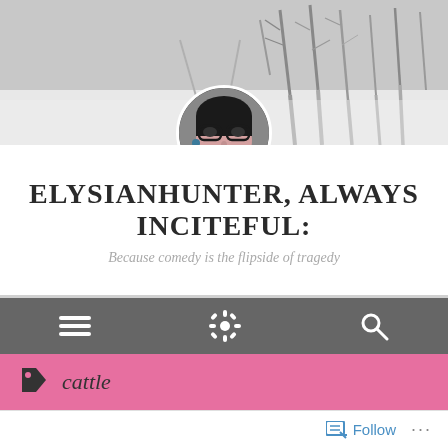[Figure (photo): Winter snowy landscape banner with bare trees, grayscale. A circular profile photo of a woman with black hair, glasses, and red lipstick is centered at the bottom of the banner.]
ELYSIANHUNTER, ALWAYS INCITEFUL:
Because comedy is the flipside of tragedy
[Figure (infographic): Dark gray navigation bar with three white icons: hamburger menu (three lines), settings gear, and magnifying glass search icon.]
cattle
Follow